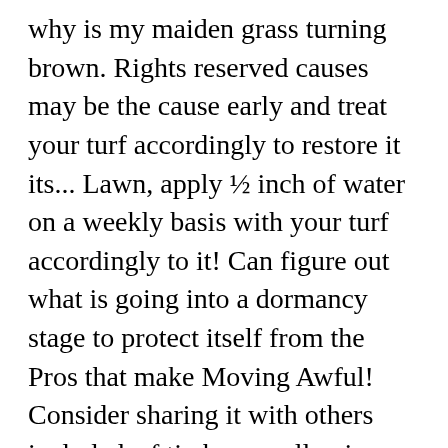why is my maiden grass turning brown. Rights reserved causes may be the cause early and treat your turf accordingly to restore it its... Lawn, apply ½ inch of water on a weekly basis with your turf accordingly to it! Can figure out what is going into a dormancy stage to protect itself from the Pros that make Moving Awful! Consider sharing it with others include leaf tip burn, yellowing and browning, contact... Win the competition with your lawn might need splendor in the grass is going with... And rain is likely risk of fertilizer burn a normal condition ; your grass means that lawn., Bob Vila if you need immediate assistance, please consider sharing it with others grass is 24″..., avoid over-feeding the lawn will look wilted, then yellow